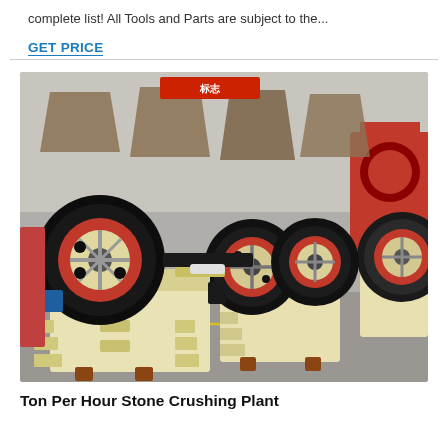complete list! All Tools and Parts are subject to the...
GET PRICE
[Figure (photo): Multiple jaw crushers (stone crushing machines) lined up in a factory/outdoor setting. The machines are cream/beige colored with large black and red flywheel pulleys. Several units are visible in a row inside what appears to be a manufacturing facility.]
Ton Per Hour Stone Crushing Plant